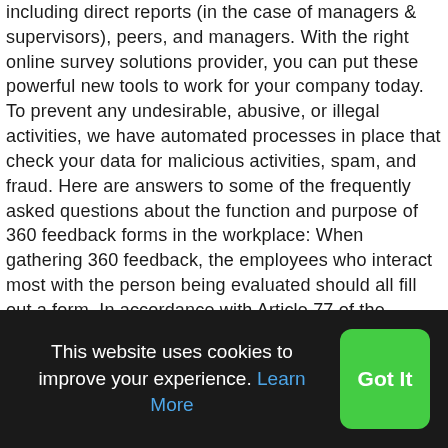including direct reports (in the case of managers & supervisors), peers, and managers. With the right online survey solutions provider, you can put these powerful new tools to work for your company today. To prevent any undesirable, abusive, or illegal activities, we have automated processes in place that check your data for malicious activities, spam, and fraud. Here are answers to some of the frequently asked questions about the function and purpose of 360 feedback forms in the workplace: When gathering 360 feedback, the employees who interact most with the person being evaluated should all fill out a form. In accordance with Article 77 of the General Data Protection Regulation, you also have the right to lodge a complaint with a supervisory authority, in particular in the Member State of your habitual residence, place of work or of an alleged infringement of the General Data Protection Regulation. Legal obligation: We have
This website uses cookies to improve your experience. Learn More